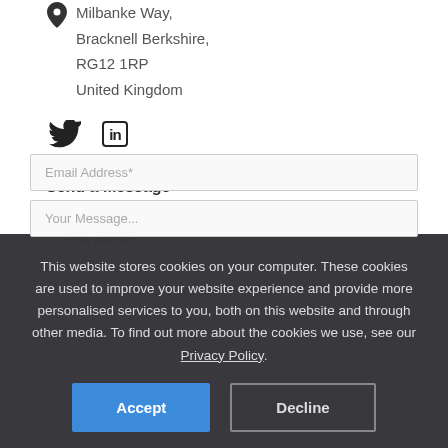Milbanke Way,
Bracknell Berkshire,
RG12 1RP
United Kingdom
[Figure (infographic): Twitter bird icon and LinkedIn 'in' icon social media links]
Send a Message
First Name*
Email Address*
Your Message...
This website stores cookies on your computer. These cookies are used to improve your website experience and provide more personalised services to you, both on this website and through other media. To find out more about the cookies we use, see our Privacy Policy.
Accept
Decline